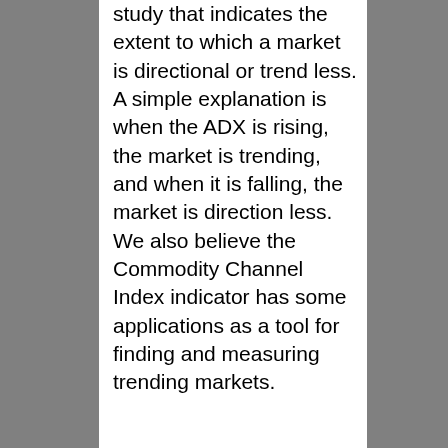study that indicates the extent to which a market is directional or trend less. A simple explanation is when the ADX is rising, the market is trending, and when it is falling, the market is direction less. We also believe the Commodity Channel Index indicator has some applications as a tool for finding and measuring trending markets.